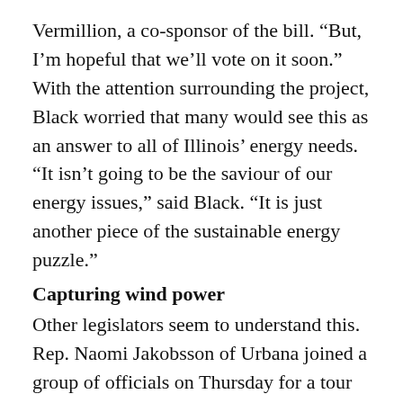Vermillion, a co-sponsor of the bill. “But, I’m hopeful that we’ll vote on it soon.”
With the attention surrounding the project, Black worried that many would see this as an answer to all of Illinois’ energy needs.
“It isn’t going to be the saviour of our energy issues,” said Black. “It is just another piece of the sustainable energy puzzle.”
Capturing wind power
Other legislators seem to understand this.
Rep. Naomi Jakobsson of Urbana joined a group of officials on Thursday for a tour of the Twin Groves Wind Farm near Bloomington-Normal, which recently opened Phase 1 of the farm.
“It’s exciting that this relatively new technology in